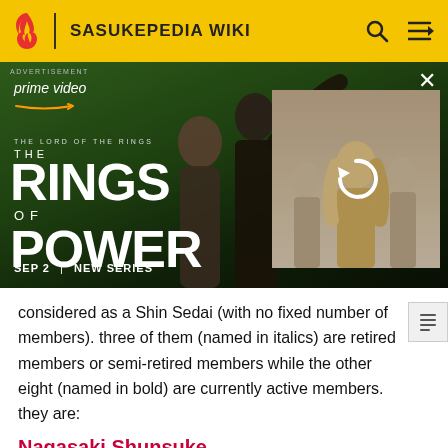SASUKEPEDIA WIKI
[Figure (photo): Amazon Prime Video advertisement for 'The Lord of the Rings: The Rings of Power' new series, SEP 2. Shows two characters in a field on the left, a secondary image panel on the right with a refresh icon overlay.]
considered as a Shin Sedai (with no fixed number of members). three of them (named in italics) are retired members or semi-retired members while the other eight (named in bold) are currently active members. they are:
Nagasaki Shunsuke
Nagasaki, a trampolinist who is one of the most promising of recent competitors. This skilled trampolinist, who is called "Prince of the Trampoline", has won several medals